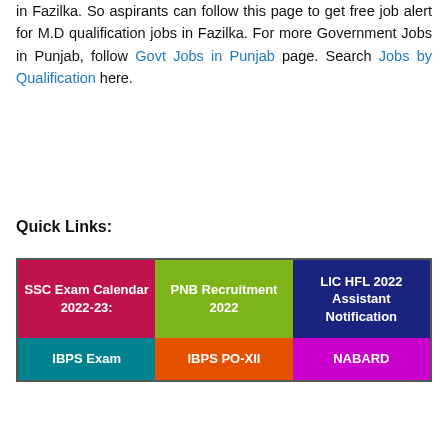in Fazilka. So aspirants can follow this page to get free job alert for M.D qualification jobs in Fazilka. For more Government Jobs in Punjab, follow Govt Jobs in Punjab page. Search Jobs by Qualification here.
Quick Links:
[Figure (infographic): Grid of colored quick-link boxes: SSC Exam Calendar 2022-23 (red), PNB Recruitment 2022 (green), LIC HFL 2022 Assistant Notification (navy), IBPS Exam (teal), IBPS PO-XII (orange), NABARD (magenta)]